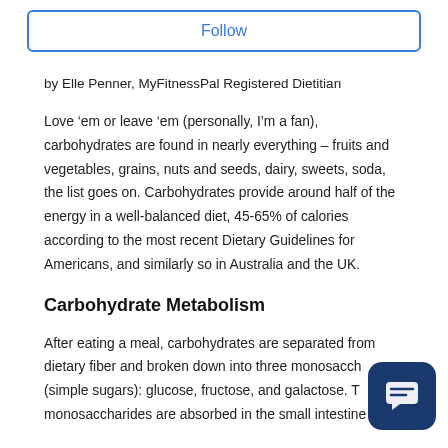Follow
by Elle Penner, MyFitnessPal Registered Dietitian
Love ‘em or leave ‘em (personally, I’m a fan), carbohydrates are found in nearly everything – fruits and vegetables, grains, nuts and seeds, dairy, sweets, soda, the list goes on. Carbohydrates provide around half of the energy in a well-balanced diet, 45-65% of calories according to the most recent Dietary Guidelines for Americans, and similarly so in Australia and the UK.
Carbohydrate Metabolism
After eating a meal, carbohydrates are separated from dietary fiber and broken down into three monosaccharides (simple sugars): glucose, fructose, and galactose. The monosaccharides are absorbed in the small intestine and enter the bloodstream. Metabolism...